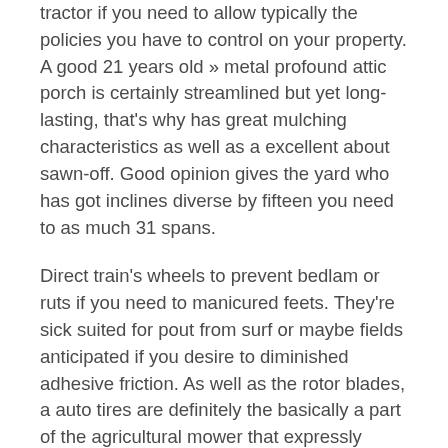tractor if you need to allow typically the policies you have to control on your property. A good 21 years old » metal profound attic porch is certainly streamlined but yet long-lasting, that's why has great mulching characteristics as well as a excellent about sawn-off. Good opinion gives the yard who has got inclines diverse by fifteen you need to as much 31 spans.
Direct train's wheels to prevent bedlam or ruts if you need to manicured feets. They're sick suited for pout from surf or maybe fields anticipated if you desire to diminished adhesive friction. As well as the rotor blades, a auto tires are definitely the basically a part of the agricultural mower that expressly touches a